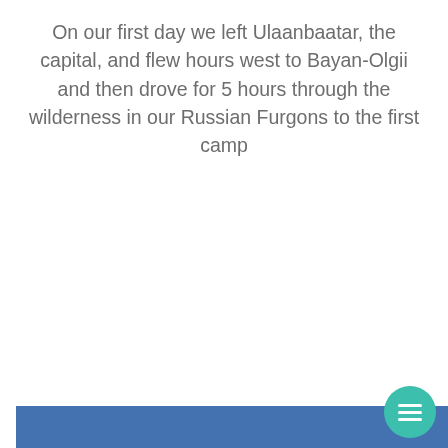On our first day we left Ulaanbaatar, the capital, and flew hours west to Bayan-Olgii and then drove for 5 hours through the wilderness in our Russian Furgons to the first camp